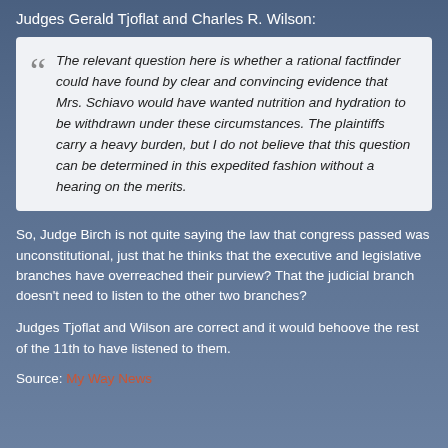Judges Gerald Tjoflat and Charles R. Wilson:
The relevant question here is whether a rational factfinder could have found by clear and convincing evidence that Mrs. Schiavo would have wanted nutrition and hydration to be withdrawn under these circumstances. The plaintiffs carry a heavy burden, but I do not believe that this question can be determined in this expedited fashion without a hearing on the merits.
So, Judge Birch is not quite saying the law that congress passed was unconstitutional, just that he thinks that the executive and legislative branches have overreached their purview? That the judicial branch doesn't need to listen to the other two branches?
Judges Tjoflat and Wilson are correct and it would behoove the rest of the 11th to have listened to them.
Source: My Way News